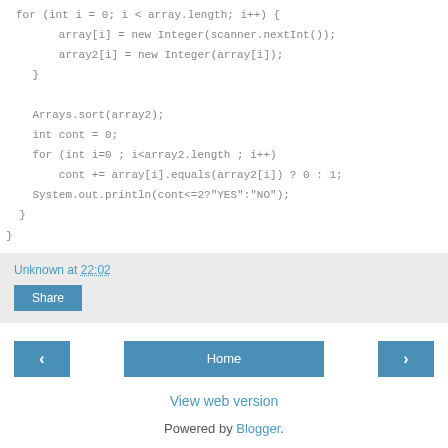for (int i = 0; i < array.length; i++) {
        array[i] = new Integer(scanner.nextInt());
        array2[i] = new Integer(array[i]);
    }

    Arrays.sort(array2);
    int cont = 0;
    for (int i=0 ; i<array2.length ; i++)
        cont += array[i].equals(array2[i]) ? 0 : 1;
    System.out.println(cont<=2?"YES":"NO");
  }
}
Unknown at 22:02
Share
Home
View web version
Powered by Blogger.